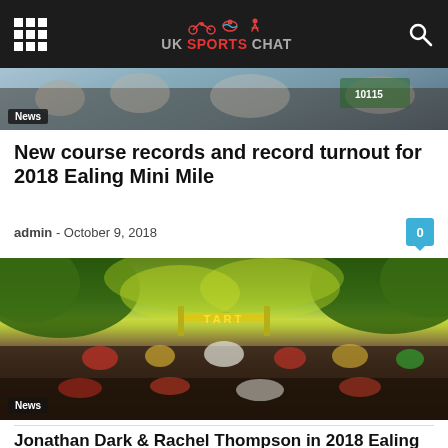UK SPORTS CHAT
[Figure (photo): Crowd photo at top of page behind nav bar, partially visible, runners and spectators]
New course records and record turnout for 2018 Ealing Mini Mile
admin  -  October 9, 2018
[Figure (photo): Large crowd of runners at the start line of the 2018 Ealing Half Marathon / Mini Mile race, under a yellow START arch, with autumn trees overhead. News badge reads 'News'.]
Jonathan Dark & Rachel Thompson in 2018 Ealing Half...